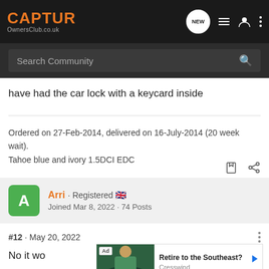[Figure (screenshot): Navigation bar with CAPTUR OwnersClub.co.uk logo in orange and dark background, with NEW chat bubble icon, list icon, person icon, and three-dot menu icon]
[Figure (screenshot): Search bar with 'Search Community' placeholder text and magnifying glass icon on dark background]
have had the car lock with a keycard inside
Ordered on 27-Feb-2014, delivered on 16-July-2014 (20 week wait).
Tahoe blue and ivory 1.5DCI EDC
Arri · Registered 🇬🇧
Joined Mar 8, 2022 · 74 Posts
#12 · May 20, 2022
No it wo... a
messag...
[Figure (screenshot): Advertisement overlay: 'Retire to the Southeast?' by Cresswind with Learn more link and play button]